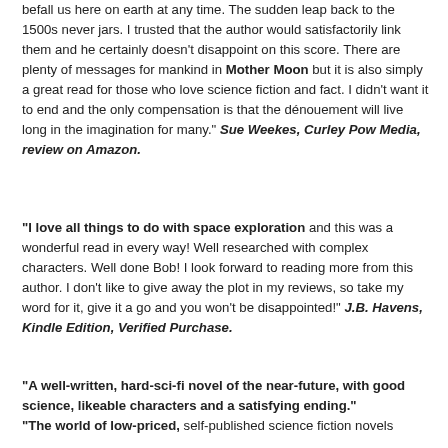befall us here on earth at any time. The sudden leap back to the 1500s never jars. I trusted that the author would satisfactorily link them and he certainly doesn't disappoint on this score. There are plenty of messages for mankind in Mother Moon but it is also simply a great read for those who love science fiction and fact. I didn't want it to end and the only compensation is that the dénouement will live long in the imagination for many." Sue Weekes, Curley Pow Media, review on Amazon.
"I love all things to do with space exploration and this was a wonderful read in every way! Well researched with complex characters. Well done Bob! I look forward to reading more from this author. I don't like to give away the plot in my reviews, so take my word for it, give it a go and you won't be disappointed!" J.B. Havens, Kindle Edition, Verified Purchase.
"A well-written, hard-sci-fi novel of the near-future, with good science, likeable characters and a satisfying ending." "The world of low-priced, self-published science fiction novels